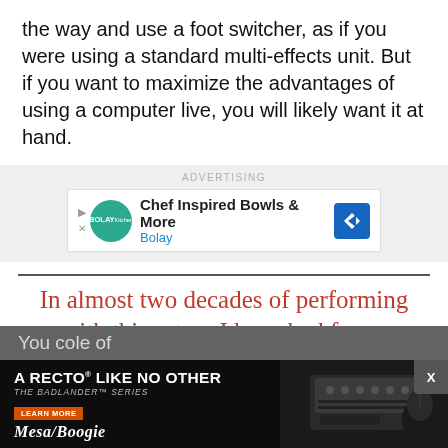the way and use a foot switcher, as if you were using a standard multi-effects unit. But if you want to maximize the advantages of using a computer live, you will likely want it at hand.
[Figure (screenshot): Advertisement banner for Bolay restaurant: 'Chef Inspired Bowls & More' with teal circular logo and blue navigation arrow icon]
In almost two decades of performing with this setup, I have had fewer computer crashes than
[Figure (screenshot): Advertisement for Mesa/Boogie 'A Recto Like No Other - The Badlander Series' with guitar amp image and 'Learn More' button]
You co                                                              le of